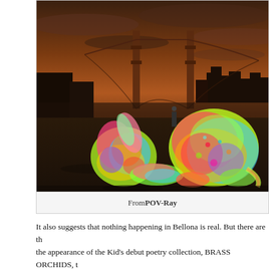[Figure (illustration): A digital illustration showing two colorful, neon-painted figures (one crouching, one crawling) in front of the Golden Gate Bridge in San Francisco, under a dramatic orange-brown sky with city skyline silhouette.]
From POV-Ray
It also suggests that nothing happening in Bellona is real. But there are the appearance of the Kid's debut poetry collection, BRASS ORCHIDS, t relationship to the wider world. People come in, too, so someone must be Bellona is tethered to reality, at least, and throughout the book, the Kid's revolve around maintaining that tether in at least an operative sense. He